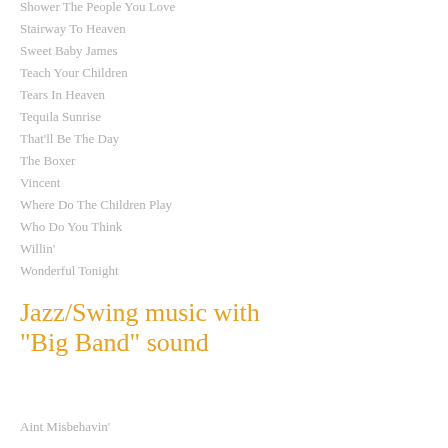Shower The People You Love
Stairway To Heaven
Sweet Baby James
Teach Your Children
Tears In Heaven
Tequila Sunrise
That'll Be The Day
The Boxer
Vincent
Where Do The Children Play
Who Do You Think
Willin'
Wonderful Tonight
Jazz/Swing music with "Big Band" sound
Aint Misbehavin'